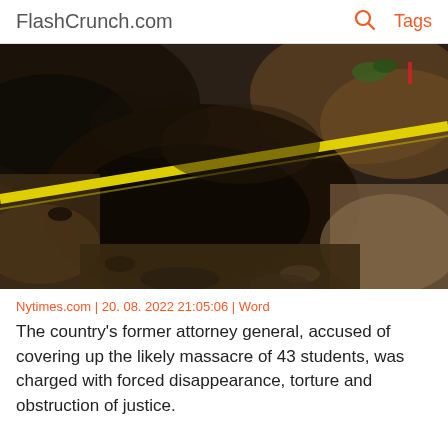FlashCrunch.com | Tags
[Figure (photo): Crime scene or excavation site photo showing disturbed earth/soil with yellow police/crime scene tape running diagonally across the frame against a dark rocky ground background.]
Nytimes.com | 20. 08. 2022 21:05:06 | Word
The country's former attorney general, accused of covering up the likely massacre of 43 students, was charged with forced disappearance, torture and obstruction of justice.